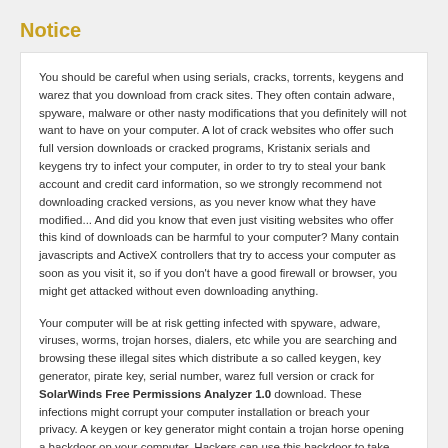Notice
You should be careful when using serials, cracks, torrents, keygens and warez that you download from crack sites. They often contain adware, spyware, malware or other nasty modifications that you definitely will not want to have on your computer. A lot of crack websites who offer such full version downloads or cracked programs, Kristanix serials and keygens try to infect your computer, in order to try to steal your bank account and credit card information, so we strongly recommend not downloading cracked versions, as you never know what they have modified... And did you know that even just visiting websites who offer this kind of downloads can be harmful to your computer? Many contain javascripts and ActiveX controllers that try to access your computer as soon as you visit it, so if you don't have a good firewall or browser, you might get attacked without even downloading anything.
Your computer will be at risk getting infected with spyware, adware, viruses, worms, trojan horses, dialers, etc while you are searching and browsing these illegal sites which distribute a so called keygen, key generator, pirate key, serial number, warez full version or crack for SolarWinds Free Permissions Analyzer 1.0 download. These infections might corrupt your computer installation or breach your privacy. A keygen or key generator might contain a trojan horse opening a backdoor on your computer. Hackers can use this backdoor to take control of your computer, copy data from your computer or to use your computer to distribute viruses